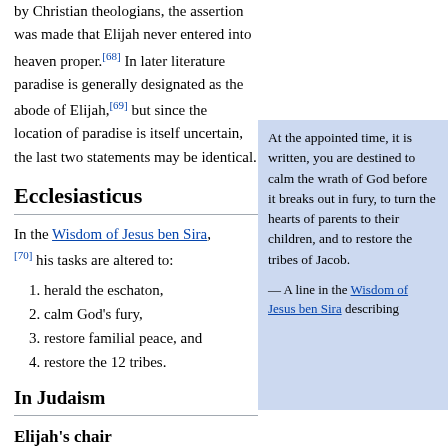by Christian theologians, the assertion was made that Elijah never entered into heaven proper.[68] In later literature paradise is generally designated as the abode of Elijah,[69] but since the location of paradise is itself uncertain, the last two statements may be identical.
Ecclesiasticus
In the Wisdom of Jesus ben Sira,[70] his tasks are altered to:
herald the eschaton,
calm God's fury,
restore familial peace, and
restore the 12 tribes.
In Judaism
Elijah's chair
See also: Brit milah
At the appointed time, it is written, you are destined to calm the wrath of God before it breaks out in fury, to turn the hearts of parents to their children, and to restore the tribes of Jacob.
— A line in the Wisdom of Jesus ben Sira describing